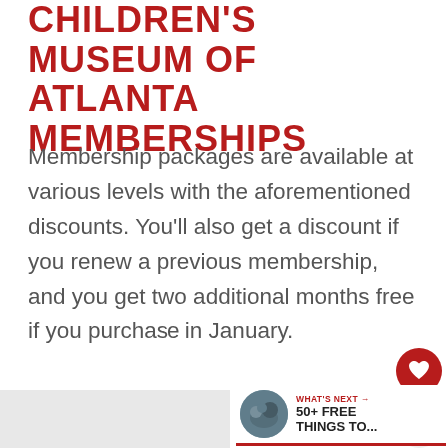CHILDREN'S MUSEUM OF ATLANTA MEMBERSHIPS
Membership packages are available at various levels with the aforementioned discounts. You'll also get a discount if you renew a previous membership, and you get two additional months free if you purchase in January.
[Figure (other): Red circular heart/favorite button icon]
[Figure (other): Share button icon (network share)]
[Figure (other): What's Next navigation widget with thumbnail image and text '50+ FREE THINGS TO...']